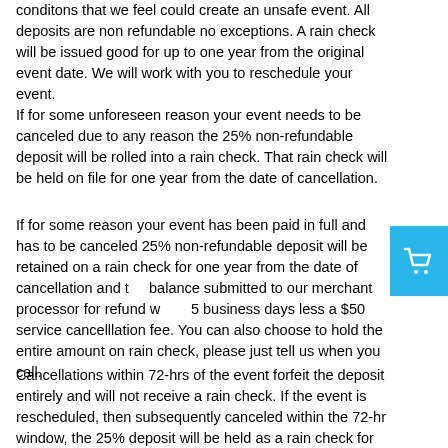conditons that we feel could create an unsafe event. All deposits are non refundable no exceptions. A rain check will be issued good for up to one year from the original event date. We will work with you to reschedule your event. If for some unforeseen reason your event needs to be canceled due to any reason the 25% non-refundable deposit will be rolled into a rain check. That rain check will be held on file for one year from the date of cancellation.
If for some reason your event has been paid in full and has to be canceled 25% non-refundable deposit will be retained on a rain check for one year from the date of cancellation and the balance submitted to our merchant processor for refund within 5 business days less a $50 service cancelllation fee. You can also choose to hold the entire amount on rain check, please just tell us when you call.
Cancellations within 72-hrs of the event forfeit the deposit entirely and will not receive a rain check. If the event is rescheduled, then subsequently canceled within the 72-hr window, the 25% deposit will be held as a rain check for 90-